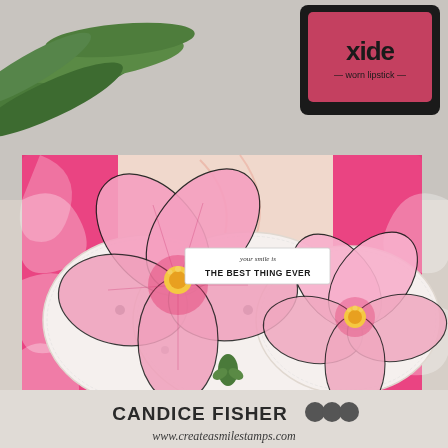[Figure (photo): A handmade greeting card by Candice Fisher for createasmilestamps.com. The card features a pink floral abstract patterned background with three overlapping oval/circle die-cut frames. Two large pink hibiscus flowers with yellow centers are placed across the card, with a small green bud. A banner reads 'your smile is THE BEST THING EVER'. Green leaves and a pink ink pad labeled 'oxide - worn lipstick' are visible in the background. The bottom displays: 'CANDICE FISHER' with three circle logo dots, and 'www.createasmilestamps.com'.]